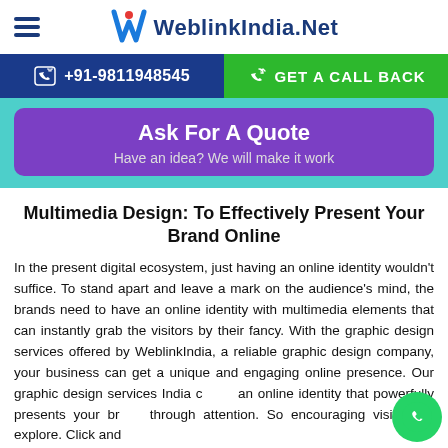WeblinkIndia.Net
+91-9811948545
GET A CALL BACK
Ask For A Quote
Have an idea? We will make it work
Multimedia Design: To Effectively Present Your Brand Online
In the present digital ecosystem, just having an online identity wouldn't suffice. To stand apart and leave a mark on the audience's mind, the brands need to have an online identity with multimedia elements that can instantly grab the visitors by their fancy. With the graphic design services offered by WeblinkIndia, a reliable graphic design company, your business can get a unique and engaging online presence. Our graphic design services India create an online identity that powerfully presents your brand through attention. So encouraging visitors to explore. Click and